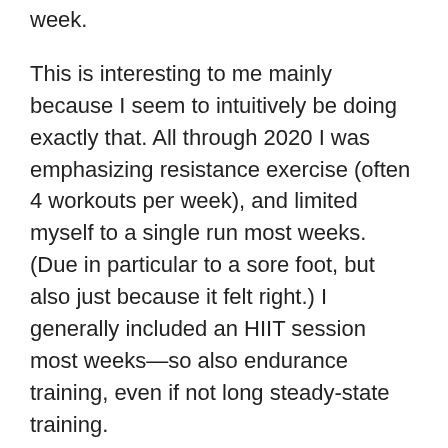week.
This is interesting to me mainly because I seem to intuitively be doing exactly that. All through 2020 I was emphasizing resistance exercise (often 4 workouts per week), and limited myself to a single run most weeks. (Due in particular to a sore foot, but also just because it felt right.) I generally included an HIIT session most weeks—so also endurance training, even if not long steady-state training.
Early in 2021 I had made a plan to repeat Anthony Arvanitakis's Superhero Bodyweight Workout, which I'd used the year before to good effect. I even bought the latest version, which seemed slightly better. But then a minor medical issue meant I had to defer the super-intense workouts that it called for. Once the medical issue was resolved I figured I'd get back to it,